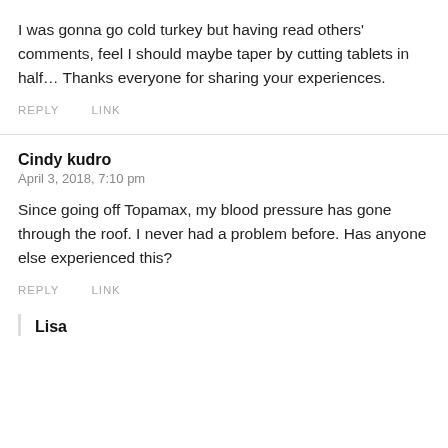I was gonna go cold turkey but having read others' comments, feel I should maybe taper by cutting tablets in half… Thanks everyone for sharing your experiences.
REPLY   LINK
Cindy kudro
April 3, 2018, 7:10 pm
Since going off Topamax, my blood pressure has gone through the roof. I never had a problem before. Has anyone else experienced this?
REPLY   LINK
Lisa